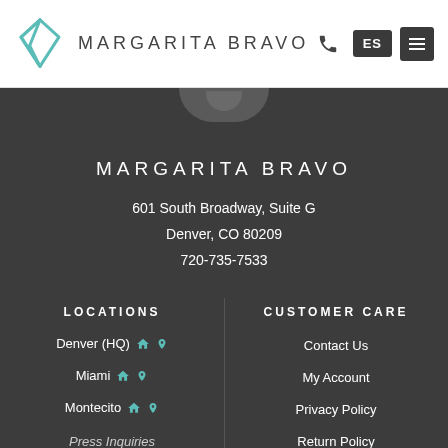MARGARITA BRAVO — header with logo, ES language button, and menu icon
MARGARITA BRAVO
601 South Broadway, Suite G
Denver, CO 80209
720-735-7533
LOCATIONS
Denver (HQ)
Miami
Montecito
Press Inquiries (partial)
CUSTOMER CARE
Contact Us
My Account
Privacy Policy
Return Policy
Terms (partial)